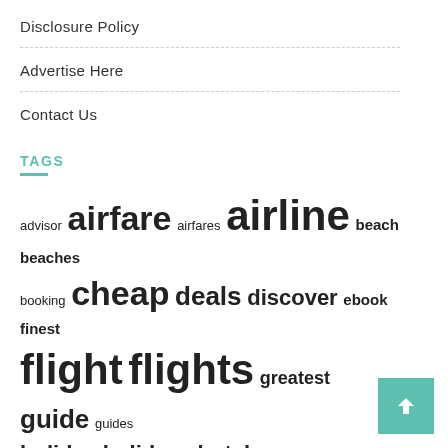Disclosure Policy
Advertise Here
Contact Us
TAGS
advisor airfare airfares airline beach beaches booking cheap deals discover ebook finest flight flights greatest guide guides holiday holidays hotels india information journey lodge lowcost lowest minute mountain offers online package packages reserving resort resorts search secret ticket tickets travel vacation